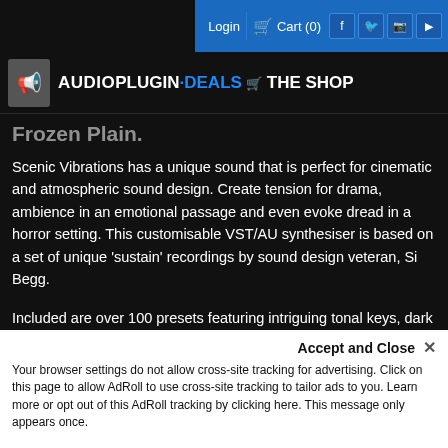Login  Cart (0)  [social icons: Facebook, Twitter, Instagram, YouTube]
[Figure (logo): AudioPlugin Deals – The Shop logo with cart icon on dark background]
Frozen Plain.
Scenic Vibrations has a unique sound that is perfect for cinematic and atmospheric sound design. Create tension for drama, ambience in an emotional passage and even evoke dread in a horror setting. This customisable VST/AU synthesiser is based on a set of unique 'sustain' recordings by sound design veteran, Si Begg.
Included are over 100 presets featuring intriguing tonal keys, dark pads, basses and pulsing rhythms. Scenic Vibrations is powered by Frozen Plain's sample-based synthesis engine, Mirage.
Get Scenic Vibrations for as low as $29.99 using your rewards balance!
Accept and Close ✕
Your browser settings do not allow cross-site tracking for advertising. Click on this page to allow AdRoll to use cross-site tracking to tailor ads to you. Learn more or opt out of this AdRoll tracking by clicking here. This message only appears once.